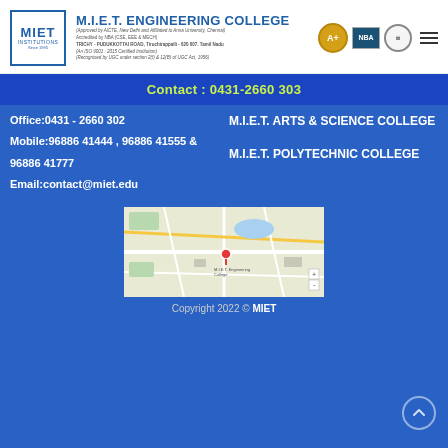M.I.E.T. ENGINEERING COLLEGE — Approved by AICTE, New Delhi and Affiliated to Anna University, Chennai — Accredited by NBA (CSE, EEE & MECH) — TRICHY - PUDUKKOTTAI ROAD, Tiruchirappalli - 620 007. Tamil Nadu — (An ISO 9001 : 2015 Certified Institution) — Recognised by UGC under section 2(f) & 12(B) of UGC Act, 1956)
Contact : 0431-2660 303
Office:0431 - 2660 302
Mobile:96886 41444 , 96886 41555 &
96886 41777
Email:contact@miet.edu
M.I.E.T. ARTS & SCIENCE COLLEGE
M.I.E.T. POLYTECHNIC COLLEGE
[Figure (map): Google Maps screenshot showing location of M.I.E.T. Engineering College near Trichy-Pudukkottai Road, Tiruchirappalli, Tamil Nadu with a red marker pin.]
Copyright 2022 © MIET